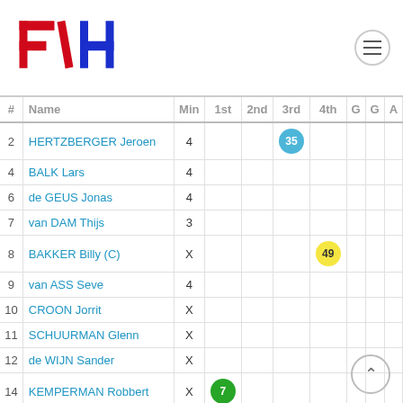[Figure (logo): FIH (International Hockey Federation) logo in red and blue]
| # | Name | Min | 1st | 2nd | 3rd | 4th | G | G | A |
| --- | --- | --- | --- | --- | --- | --- | --- | --- | --- |
| 2 | HERTZBERGER Jeroen | 4 |  |  | 35 |  |  |  |  |
| 4 | BALK Lars | 4 |  |  |  |  |  |  |  |
| 6 | de GEUS Jonas | 4 |  |  |  |  |  |  |  |
| 7 | van DAM Thijs | 3 |  |  |  |  |  |  |  |
| 8 | BAKKER Billy (C) | X |  |  |  | 49 |  |  |  |
| 9 | van ASS Seve | 4 |  |  |  |  |  |  |  |
| 10 | CROON Jorrit | X |  |  |  |  |  |  |  |
| 11 | SCHUURMAN Glenn | X |  |  |  |  |  |  |  |
| 12 | de WIJN Sander | X |  |  |  |  |  |  |  |
| 14 | KEMPERMAN Robbert | X | 7 |  |  |  |  |  |  |
| 16 | PRUIJSER Mirco | X |  |  |  |  |  |  |  |
| 23 | de MOL Joep | X |  |  |  |  |  |  |  |
| 25 | BRINKMAN Thierry | X |  |  |  |  |  |  |  |